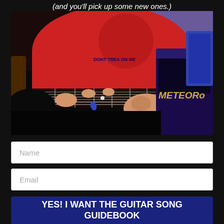(and you'll pick up some new ones.)
[Figure (photo): Person in red 'Don't Tread on Me' t-shirt playing an electric guitar with a dark fretboard, with a Meteoro amplifier visible in the background]
Name
Email
YES! I WANT THE GUITAR SONG GUIDEBOOK